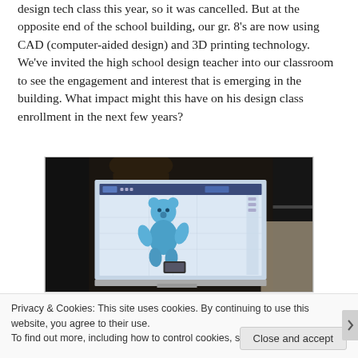design tech class this year, so it was cancelled. But at the opposite end of the school building, our gr. 8's are now using CAD (computer-aided design) and 3D printing technology. We've invited the high school design teacher into our classroom to see the engagement and interest that is emerging in the building. What impact might this have on his design class enrollment in the next few years?
[Figure (photo): A student using CAD software on a computer monitor, showing a 3D blue bear figure model on the screen, taken in a classroom setting.]
Privacy & Cookies: This site uses cookies. By continuing to use this website, you agree to their use.
To find out more, including how to control cookies, see here: Cookie Policy
Close and accept